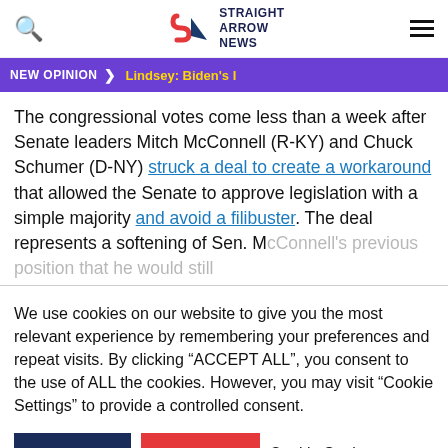Straight Arrow News — header with search, logo, and menu
NEW OPINION > Lindsey: Biden's I
The congressional votes come less than a week after Senate leaders Mitch McConnell (R-KY) and Chuck Schumer (D-NY) struck a deal to create a workaround that allowed the Senate to approve legislation with a simple majority and avoid a filibuster. The deal represents a softening of Sen. McConnell's previous position that he would still...
We use cookies on our website to give you the most relevant experience by remembering your preferences and repeat visits. By clicking "ACCEPT ALL", you consent to the use of ALL the cookies. However, you may visit "Cookie Settings" to provide a controlled consent.